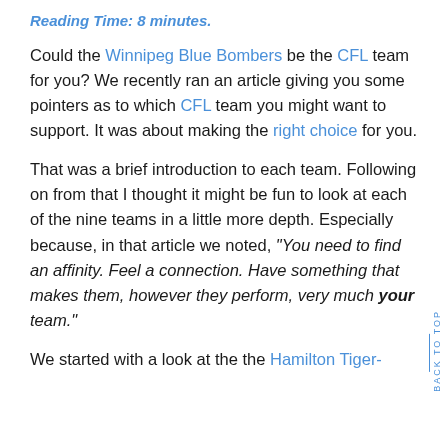Reading Time: 8 minutes.
Could the Winnipeg Blue Bombers be the CFL team for you? We recently ran an article giving you some pointers as to which CFL team you might want to support. It was about making the right choice for you.
That was a brief introduction to each team. Following on from that I thought it might be fun to look at each of the nine teams in a little more depth. Especially because, in that article we noted, "You need to find an affinity. Feel a connection. Have something that makes them, however they perform, very much your team."
We started with a look at the the Hamilton Tiger-